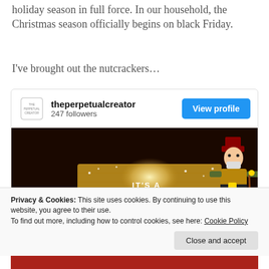holiday season in full force. In our household, the Christmas season officially begins on black Friday.
I've brought out the nutcrackers…
[Figure (screenshot): Instagram/social media profile card for 'theperpetualcreator' with 247 followers and a 'View profile' button, followed by a photo of a lit wooden sign reading 'IT'S A WONDERFUL LIFE' with a nutcracker figure beside it on a dark background.]
Privacy & Cookies: This site uses cookies. By continuing to use this website, you agree to their use.
To find out more, including how to control cookies, see here: Cookie Policy
Close and accept